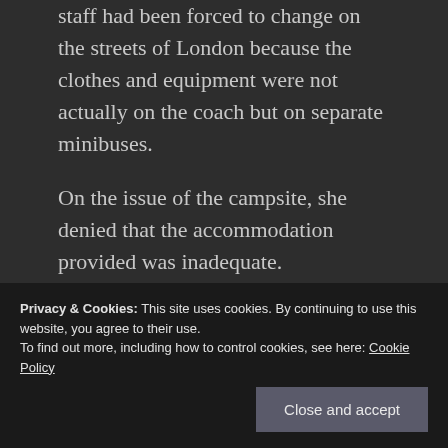staff had been forced to change on the streets of London because the clothes and equipment were not actually on the coach but on separate minibuses.
On the issue of the campsite, she denied that the accommodation provided was inadequate.
“There was dry sheltered accommodation
Privacy & Cookies: This site uses cookies. By continuing to use this website, you agree to their use.
To find out more, including how to control cookies, see here: Cookie Policy
to attempt it,” she told Today.